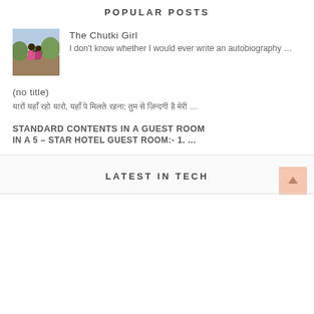POPULAR POSTS
[Figure (photo): Two children hugging outdoors with trees and sky in background]
The Chutki Girl
I don't know whether I would ever write an autobiography …
(no title)
यारों यहाँ रहो यारो, यहाँ पे मिलते रहना; तुम से ज़िन्दगी है मेरी …
STANDARD CONTENTS IN A GUEST ROOM
IN A 5 – STAR HOTEL GUEST ROOM:- 1. ...
LATEST IN TECH